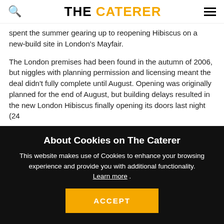THE CATERER
spent the summer gearing up to reopening Hibiscus on a new-build site in London's Mayfair.
The London premises had been found in the autumn of 2006, but niggles with planning permission and licensing meant the deal didn't fully complete until August. Opening was originally planned for the end of August, but building delays resulted in the new London Hibiscus finally opening its doors last night (24
About Cookies on The Caterer
This website makes use of Cookies to enhance your browsing experience and provide you with additional functionality. Learn more .
ACCEPT